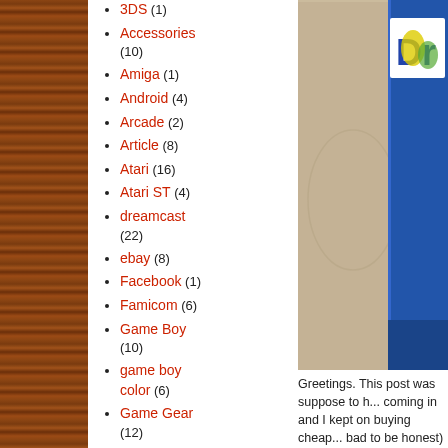3DS (1)
Accessories (10)
Amiga (1)
Android (4)
Arcade (2)
Article (8)
Atari (16)
Atari ST (4)
dreamcast (22)
ebay (8)
Facebook (1)
Famicom (6)
Game Boy (10)
game boy color (6)
Game Gear (12)
Games Room (20)
Gumtree (7)
internet (2)
[Figure (photo): Close-up photo of what appears to be a Dreamcast game or accessory box with blue spine, partial text 'Dr' visible, on a wooden/desk surface]
Greetings. This post was suppose to h... coming in and I kept on buying cheap... bad to be honest) and doing assignm...